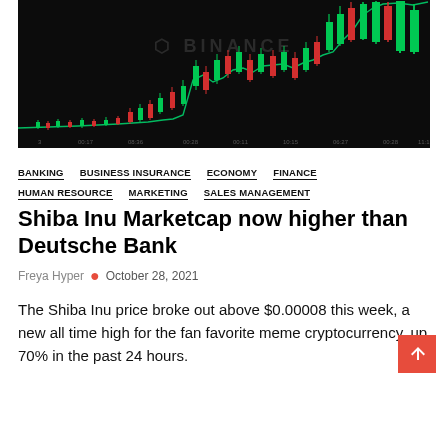[Figure (continuous-plot): Binance candlestick chart showing Shiba Inu price history on a dark background. The chart shows a dramatic price spike upward at the right side. Green and red candlesticks are visible, with a trendline rising sharply. The Binance logo watermark is visible in the upper center.]
BANKING
BUSINESS INSURANCE
ECONOMY
FINANCE
HUMAN RESOURCE
MARKETING
SALES MANAGEMENT
Shiba Inu Marketcap now higher than Deutsche Bank
Freya Hyper • October 28, 2021
The Shiba Inu price broke out above $0.00008 this week, a new all time high for the fan favorite meme cryptocurrency, up 70% in the past 24 hours.